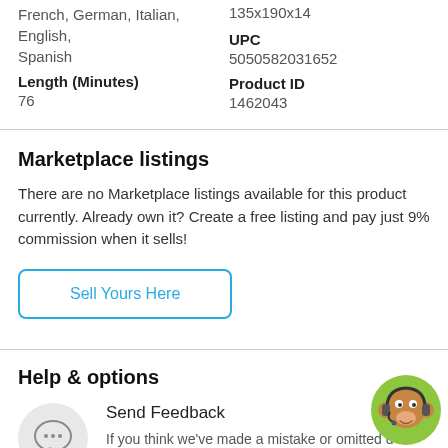French, German, Italian, English, Spanish
135x190x14
Length (Minutes)
76
UPC
5050582031652
Product ID
1462043
Marketplace listings
There are no Marketplace listings available for this product currently. Already own it? Create a free listing and pay just 9% commission when it sells!
Sell Yours Here
Help & options
Send Feedback
If you think we've made a mistake or omitted d... please send us your feedback.